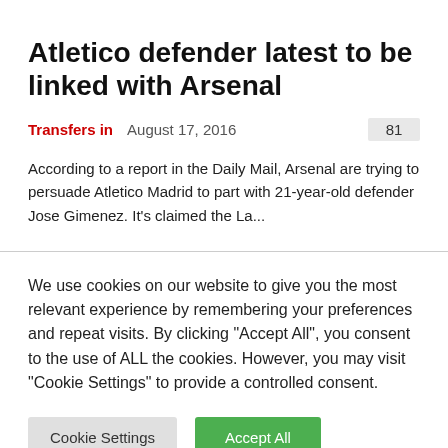Atletico defender latest to be linked with Arsenal
Transfers in   August 17, 2016   81
According to a report in the Daily Mail, Arsenal are trying to persuade Atletico Madrid to part with 21-year-old defender Jose Gimenez. It's claimed the La...
We use cookies on our website to give you the most relevant experience by remembering your preferences and repeat visits. By clicking "Accept All", you consent to the use of ALL the cookies. However, you may visit "Cookie Settings" to provide a controlled consent.